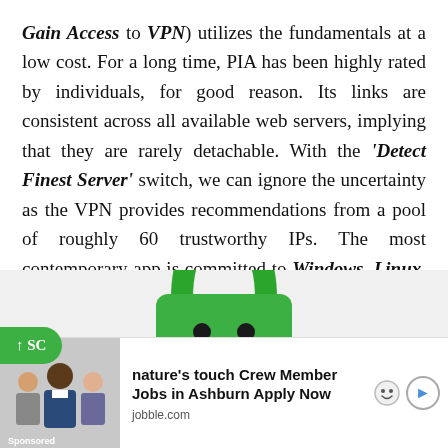Gain Access to VPN) utilizes the fundamentals at a low cost. For a long time, PIA has been highly rated by individuals, for good reason. Its links are consistent across all available web servers, implying that they are rarely detachable. With the 'Detect Finest Server' switch, we can ignore the uncertainty as the VPN provides recommendations from a pool of roughly 60 trustworthy IPs. The most contemporary app is committed to Windows, Linux, Android, Mac, and iOS.
[Figure (illustration): Green padlock mascot logo on a light gray background, resembling the Private Internet Access (PIA) VPN logo — an anthropomorphic green lock with two dot eyes and a horizontal line mouth.]
[Figure (infographic): Advertisement bar at bottom: green scroll-up button on left, thumbnail image of people in office, text reading nature's touch Crew Member Jobs in Ashburn Apply Now from jobble.com with Sponsored label.]